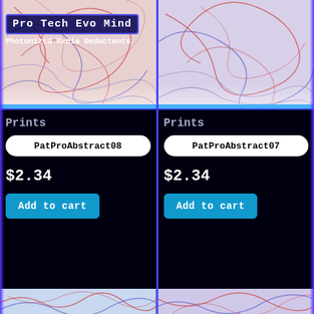Pro Tech Evo Mind
Photonized Media Deductants
[Figure (illustration): Abstract red and blue swirling line art illustration, top-left product card]
[Figure (illustration): Abstract red and blue swirling line art illustration, top-right product card]
Prints
PatProAbstract08
$2.34
Add to cart
Prints
PatProAbstract07
$2.34
Add to cart
[Figure (illustration): Abstract red and blue swirling line art illustration, bottom-left]
[Figure (illustration): Abstract red and blue swirling line art with star/geometric elements, bottom-right]